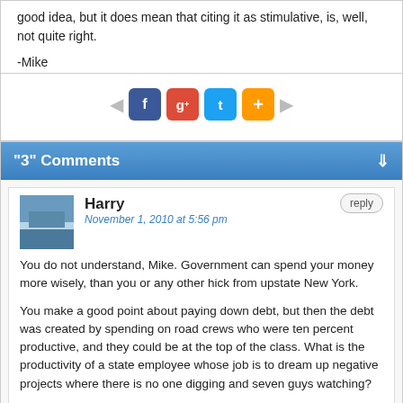good idea, but it does mean that citing it as stimulative, is, well, not quite right.

-Mike
[Figure (infographic): Social share bar with left arrow, Facebook icon, Google+ icon, Twitter icon, Add/plus icon (orange), right arrow]
"3" Comments
Harry
November 1, 2010 at 5:56 pm

You do not understand, Mike. Government can spend your money more wisely, than you or any other hick from upstate New York.

You make a good point about paying down debt, but then the debt was created by spending on road crews who were ten percent productive, and they could be at the top of the class. What is the productivity of a state employee whose job is to dream up negative projects where there is no one digging and seven guys watching?

It is reassuring to read that an economics expert questions wheteher the effect of the stimulus is measurable. In that regard, I will concede a degree of imprecision about supply-side claims.
jb
November 8, 2010 at 1:20 pm